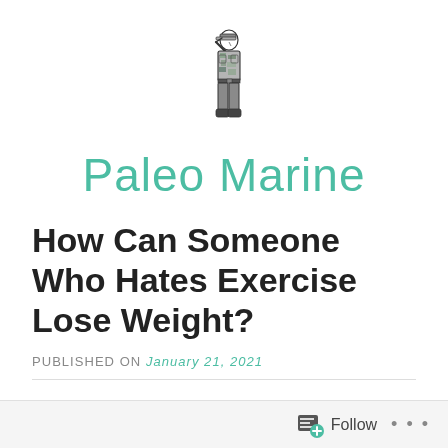[Figure (illustration): Line drawing of a military soldier in camouflage uniform saluting, viewed from the side]
Paleo Marine
How Can Someone Who Hates Exercise Lose Weight?
PUBLISHED ON January 21, 2021
This was my main concern and my first question to my cousin